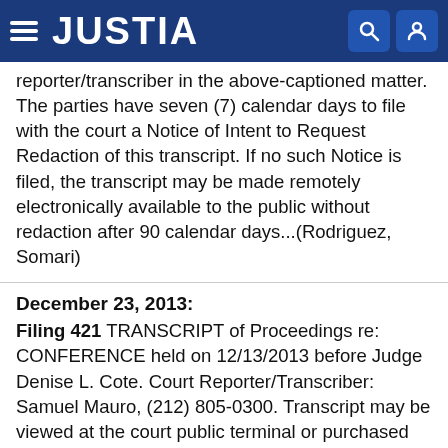JUSTIA
reporter/transcriber in the above-captioned matter. The parties have seven (7) calendar days to file with the court a Notice of Intent to Request Redaction of this transcript. If no such Notice is filed, the transcript may be made remotely electronically available to the public without redaction after 90 calendar days...(Rodriguez, Somari)
December 23, 2013:
Filing 421  TRANSCRIPT of Proceedings re: CONFERENCE held on 12/13/2013 before Judge Denise L. Cote. Court Reporter/Transcriber: Samuel Mauro, (212) 805-0300. Transcript may be viewed at the court public terminal or purchased through the Court Reporter/Transcriber before the deadline for Release of Transcript Restriction. After that date it may be obtained through PACER. Redaction Request due 1/16/2014. Redacted Transcript Deadline set f